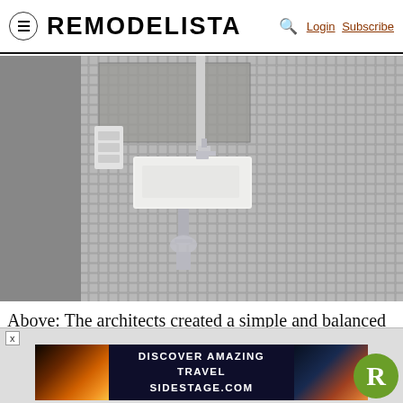REMODELISTA  Login  Subscribe
[Figure (photo): Bathroom with white mosaic tile walls covering most of the surface area. A white rectangular wall-mounted sink is centered, with a chrome faucet and visible pipe below. A small control panel is mounted to the left of the sink. A mirror or recessed area is visible in the upper center portion. The left side has a smooth grey plastered wall. The tiles create a grid pattern throughout.]
Above: The architects created a simple and balanced composition from basic bathroom components.
[Figure (screenshot): Advertisement banner: DISCOVER AMAZING TRAVEL SIDESTAGE.COM with sunset travel images on left and right, dark blue center, and Remodelista R logo circle in green on the right. Has a close X button at top left.]